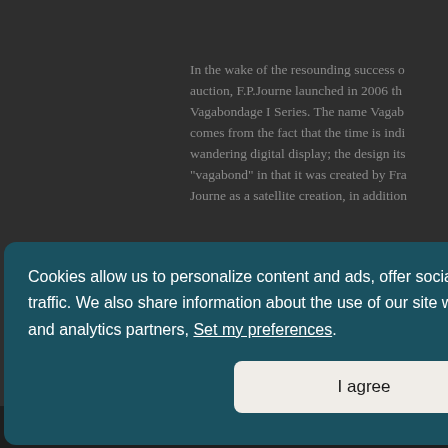In the wake of the resounding success of auction, F.P.Journe launched in 2006 the Vagabondage I Series. The name Vagabondage comes from the fact that the time is indicated by a wandering digital display; the design itself is "vagabond" in that it was created by François-Paul Journe as a satellite creation, in addition to...
Cookies allow us to personalize content and ads, offer social media features and analyze our traffic. We also share information about the use of our site with our social media, advertising and analytics partners, Set my preferences.
I agree
Find your Vagabondage III in an FP Journe Boutique